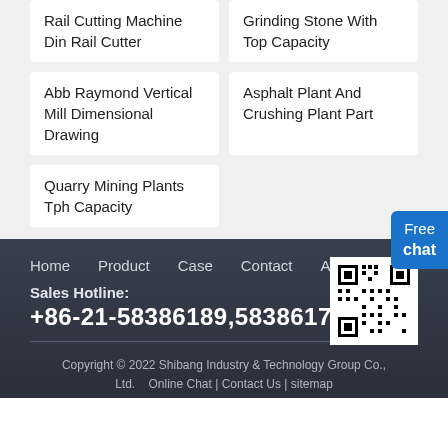Rail Cutting Machine Din Rail Cutter
Grinding Stone With Top Capacity
Abb Raymond Vertical Mill Dimensional Drawing
Asphalt Plant And Crushing Plant Part
Quarry Mining Plants Tph Capacity
Free chat
Home  Product  Case  Contact  About
Sales Hotline: +86-21-58386189,58386176
Copyright © 2022 Shibang Industry & Technology Group Co., Ltd.  Online Chat | Contact Us | sitemap